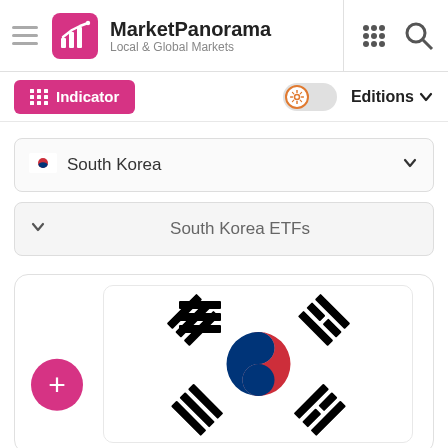MarketPanorama — Local & Global Markets
Indicator
Editions
South Korea
South Korea ETFs
[Figure (screenshot): South Korean flag with taegeuk symbol and trigrams on white background, displayed inside a card with a pink plus button on the left]